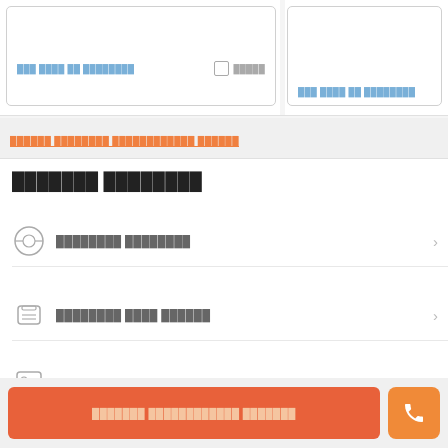[Figure (screenshot): UI card left with link text and checkbox]
[Figure (screenshot): UI card right with link text]
██████ ████████ ████████████ ██████
███████ ████████
████████ ████████
████████ ████ ██████
████████ ███████ ████████
███████ ████████████ ███████